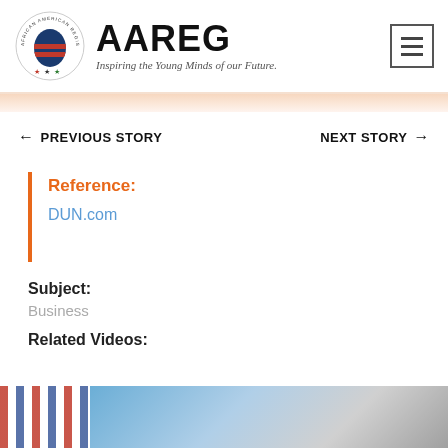AAREG — Inspiring the Young Minds of our Future.
← PREVIOUS STORY    NEXT STORY →
Reference:
DUN.com
Subject:
Business
Related Videos:
[Figure (photo): Two thumbnail images at the bottom: left shows an American flag pattern, right shows a blurred blue/grey image.]